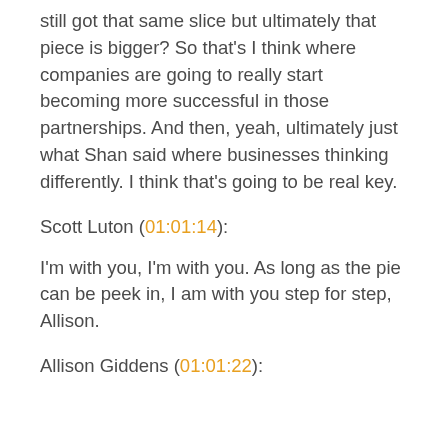still got that same slice but ultimately that piece is bigger? So that's I think where companies are going to really start becoming more successful in those partnerships. And then, yeah, ultimately just what Shan said where businesses thinking differently. I think that's going to be real key.
Scott Luton (01:01:14):
I'm with you, I'm with you. As long as the pie can be peek in, I am with you step for step, Allison.
Allison Giddens (01:01:22):